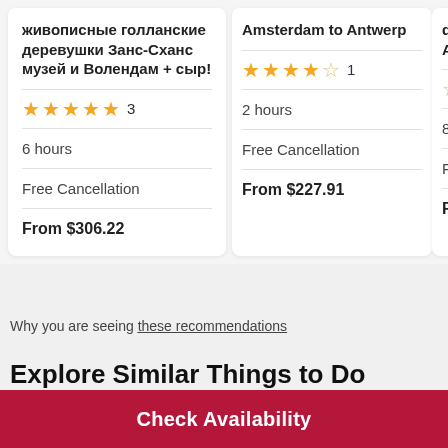живописные голланские деревушки Занс-Сханс музей и Волендам + сыр!
★★★★★ 3 | 6 hours | Free Cancellation | From $306.22
Amsterdam to Antwerp
★★★★☆ 1 | 2 hours | Free Cancellation | From $227.91
drive Ams...
☆☆ | 8 ho... | Free... | From...
Why you are seeing these recommendations
Explore Similar Things to Do
Check Availability